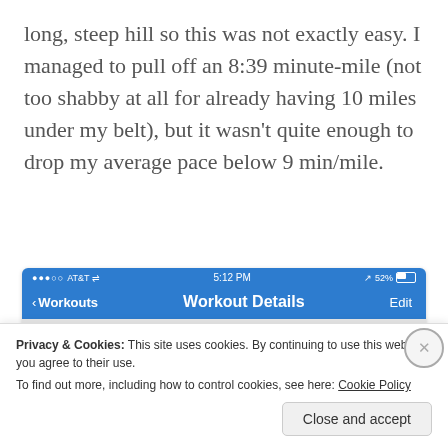long, steep hill so this was not exactly easy. I managed to pull off an 8:39 minute-mile (not too shabby at all for already having 10 miles under my belt), but it wasn't quite enough to drop my average pace below 9 min/mile.
[Figure (screenshot): iPhone screenshot showing a workout app with status bar (AT&T, 5:12 PM, 52% battery) and navigation bar with back button labeled 'Workouts', title 'Workout Details', and 'Edit' button on blue background.]
Privacy & Cookies: This site uses cookies. By continuing to use this website, you agree to their use.
To find out more, including how to control cookies, see here: Cookie Policy
Close and accept